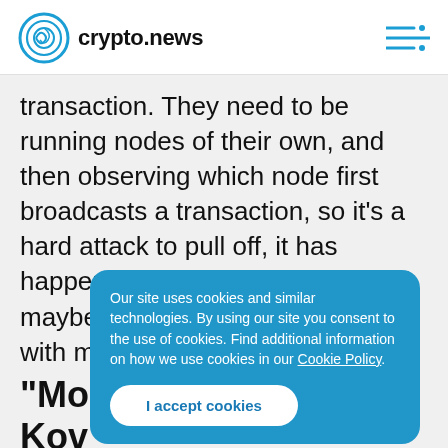crypto.news
transaction. They need to be running nodes of their own, and then observing which node first broadcasts a transaction, so it's a hard attack to pull off, it has happened with bitcoin before, and maybe it could even be happening with monero, we wouldn't know
Our site uses cookies and similar technologies. By using our site you consent to the use of cookies. Find additional information on how we use cookies in our Cookie Policy.
“Mo Kov and Decentralization”